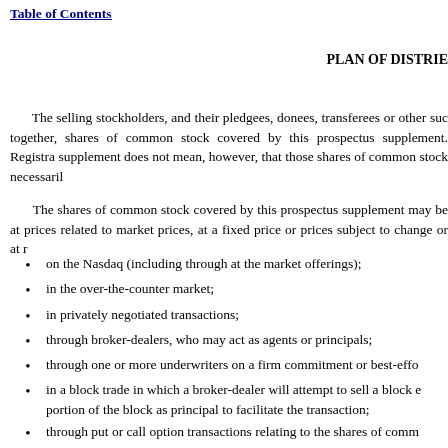Table of Contents
PLAN OF DISTRIE
The selling stockholders, and their pledgees, donees, transferees or other suc together, shares of common stock covered by this prospectus supplement. Registra supplement does not mean, however, that those shares of common stock necessaril
The shares of common stock covered by this prospectus supplement may be at prices related to market prices, at a fixed price or prices subject to change or at r
on the Nasdaq (including through at the market offerings);
in the over-the-counter market;
in privately negotiated transactions;
through broker-dealers, who may act as agents or principals;
through one or more underwriters on a firm commitment or best-effo
in a block trade in which a broker-dealer will attempt to sell a block e portion of the block as principal to facilitate the transaction;
through put or call option transactions relating to the shares of comm
directly to one or more purchasers;
through agents; or
in any combination of the above.
effett... (partial, cut off at bottom)